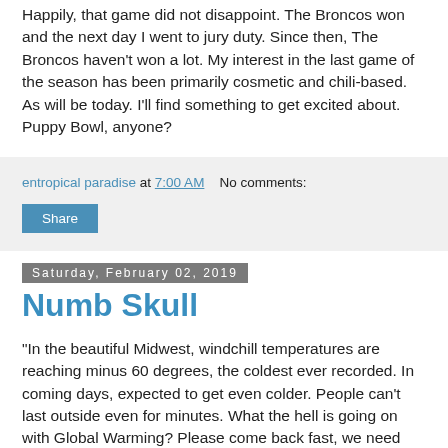Happily, that game did not disappoint. The Broncos won and the next day I went to jury duty. Since then, The Broncos haven't won a lot. My interest in the last game of the season has been primarily cosmetic and chili-based. As will be today. I'll find something to get excited about. Puppy Bowl, anyone?
entropical paradise at 7:00 AM   No comments:
Share
Saturday, February 02, 2019
Numb Skull
"In the beautiful Midwest, windchill temperatures are reaching minus 60 degrees, the coldest ever recorded. In coming days, expected to get even colder. People can't last outside even for minutes. What the hell is going on with Global Warming? Please come back fast, we need you!" This was the Tweet that the "President" sent out to greet the Polar Vortex, a weather system cold enough that no mail will